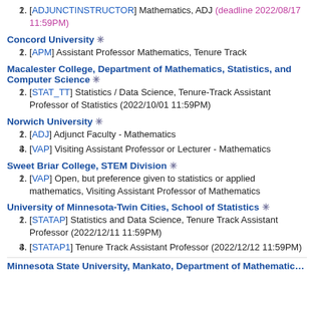[ADJUNCTINSTRUCTOR] Mathematics, ADJ (deadline 2022/08/17 11:59PM)
Concord University ✳
[APM] Assistant Professor Mathematics, Tenure Track
Macalester College, Department of Mathematics, Statistics, and Computer Science ✳
[STAT_TT] Statistics / Data Science, Tenure-Track Assistant Professor of Statistics (2022/10/01 11:59PM)
Norwich University ✳
[ADJ] Adjunct Faculty - Mathematics
[VAP] Visiting Assistant Professor or Lecturer - Mathematics
Sweet Briar College, STEM Division ✳
[VAP] Open, but preference given to statistics or applied mathematics, Visiting Assistant Professor of Mathematics
University of Minnesota-Twin Cities, School of Statistics ✳
[STATAP] Statistics and Data Science, Tenure Track Assistant Professor (2022/12/11 11:59PM)
[STATAP1] Tenure Track Assistant Professor (2022/12/12 11:59PM)
Minnesota State University, Mankato, Department of Mathematics...